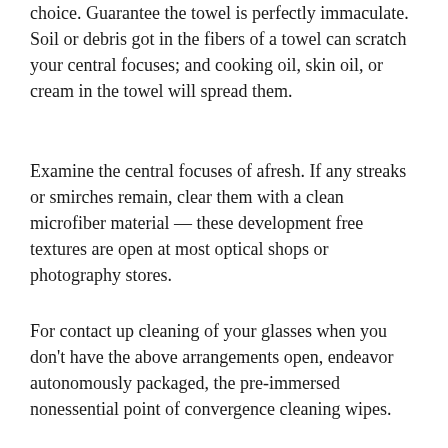choice. Guarantee the towel is perfectly immaculate. Soil or debris got in the fibers of a towel can scratch your central focuses; and cooking oil, skin oil, or cream in the towel will spread them.
Examine the central focuses of afresh. If any streaks or smirches remain, clear them with a clean microfiber material — these development free textures are open at most optical shops or photography stores.
For contact up cleaning of your glasses when you don't have the above arrangements open, endeavor autonomously packaged, the pre-immersed nonessential point of convergence cleaning wipes.